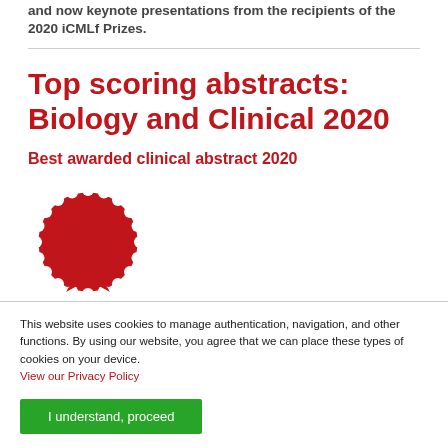and now keynote presentations from the recipients of the 2020 iCMLf Prizes.
Top scoring abstracts: Biology and Clinical 2020
Best awarded clinical abstract 2020
[Figure (illustration): Red rosette/medal award badge icon]
This website uses cookies to manage authentication, navigation, and other functions. By using our website, you agree that we can place these types of cookies on your device.
View our Privacy Policy
I understand, proceed